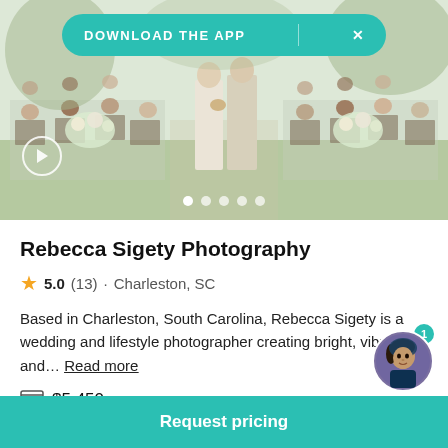[Figure (photo): Wedding ceremony outdoor photo: couple walking down aisle with guests seated on both sides, floral arrangements, trees in background. Download the App banner overlay at top.]
Rebecca Sigety Photography
5.0 (13) · Charleston, SC
Based in Charleston, South Carolina, Rebecca Sigety is a wedding and lifestyle photographer creating bright, vibrant and… Read more
$5,450
Request pricing